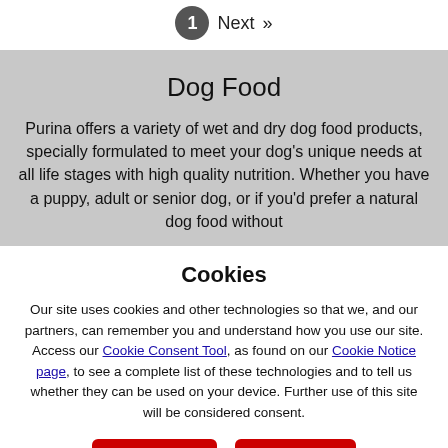1 Next »
Dog Food
Purina offers a variety of wet and dry dog food products, specially formulated to meet your dog's unique needs at all life stages with high quality nutrition. Whether you have a puppy, adult or senior dog, or if you'd prefer a natural dog food without
Cookies
Our site uses cookies and other technologies so that we, and our partners, can remember you and understand how you use our site. Access our Cookie Consent Tool, as found on our Cookie Notice page, to see a complete list of these technologies and to tell us whether they can be used on your device. Further use of this site will be considered consent.